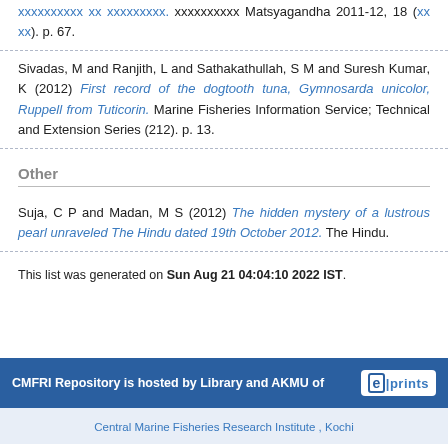xxxxxxxxxx xx xxxxxxxxx. xxxxxxxxxx Matsyagandha 2011-12, 18 (xx xx). p. 67.
Sivadas, M and Ranjith, L and Sathakathullah, S M and Suresh Kumar, K (2012) First record of the dogtooth tuna, Gymnosarda unicolor, Ruppell from Tuticorin. Marine Fisheries Information Service; Technical and Extension Series (212). p. 13.
Other
Suja, C P and Madan, M S (2012) The hidden mystery of a lustrous pearl unraveled The Hindu dated 19th October 2012. The Hindu.
This list was generated on Sun Aug 21 04:04:10 2022 IST.
CMFRI Repository is hosted by Library and AKMU of
Central Marine Fisheries Research Institute , Kochi